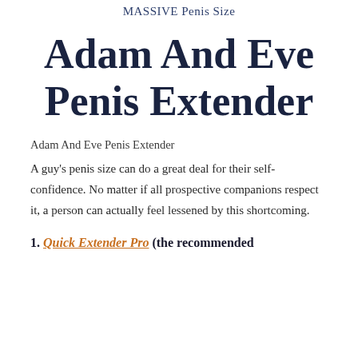MASSIVE Penis Size
Adam And Eve Penis Extender
Adam And Eve Penis Extender
A guy's penis size can do a great deal for their self-confidence. No matter if all prospective companions respect it, a person can actually feel lessened by this shortcoming.
1. Quick Extender Pro (the recommended